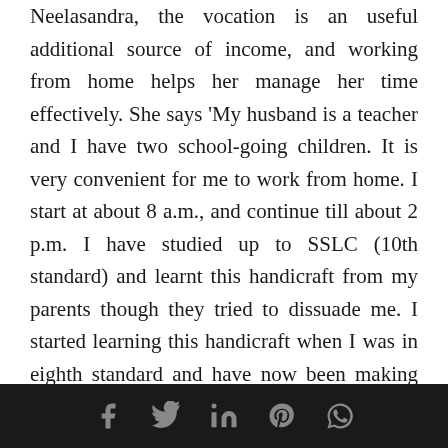Neelasandra, the vocation is an useful additional source of income, and working from home helps her manage her time effectively. She says 'My husband is a teacher and I have two school-going children. It is very convenient for me to work from home. I start at about 8 a.m., and continue till about 2 p.m. I have studied up to SSLC (10th standard) and learnt this handicraft from my parents though they tried to dissuade me. I started learning this handicraft when I was in eighth standard and have now been making toys for 15 years. Working on machines or lathes was never an option for me as I don't know how to work on such equipment. If I was doing some other profession, then I would have to go in the
[social media icons: Facebook, Twitter, LinkedIn, Pinterest, WhatsApp]